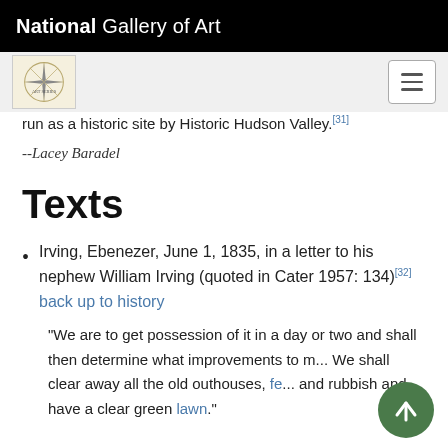National Gallery of Art
[Figure (logo): Navigation bar with decorative star/compass logo on left and hamburger menu button on right, on gray background]
run as a historic site by Historic Hudson Valley.[31]
--Lacey Baradel
Texts
Irving, Ebenezer, June 1, 1835, in a letter to his nephew William Irving (quoted in Cater 1957: 134)[32] back up to history
"We are to get possession of it in a day or two and shall then determine what improvements to m... We shall clear away all the old outhouses, fe... and rubbish and have a clear green lawn."